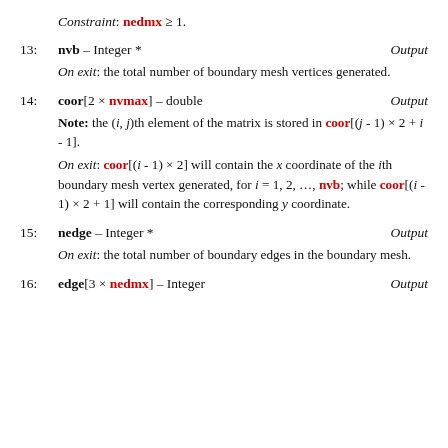Constraint: nedmx ≥ 1.
13: nvb – Integer *   Output
On exit: the total number of boundary mesh vertices generated.
14: coor[2 × nvmax] – double   Output
Note: the (i, j)th element of the matrix is stored in coor[(j - 1) × 2 + i - 1].
On exit: coor[(i - 1) × 2] will contain the x coordinate of the ith boundary mesh vertex generated, for i = 1, 2, …, nvb; while coor[(i - 1) × 2 + 1] will contain the corresponding y coordinate.
15: nedge – Integer *   Output
On exit: the total number of boundary edges in the boundary mesh.
16: edge[3 × nedmx] – Integer   Output